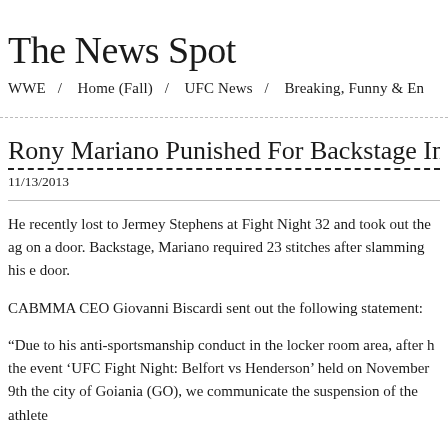The News Spot
WWE  /  Home (Fall)  /  UFC News  /  Breaking, Funny & En
Rony Mariano Punished For Backstage In
11/13/2013
He recently lost to Jermey Stephens at Fight Night 32 and took out the ag on a door. Backstage, Mariano required 23 stitches after slamming his e door.
CABMMA CEO Giovanni Biscardi sent out the following statement:
“Due to his anti-sportsmanship conduct in the locker room area, after h the event ‘UFC Fight Night: Belfort vs Henderson’ held on November 9th the city of Goiania (GO), we communicate the suspension of the athlete